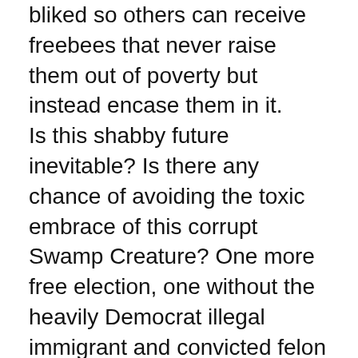bliked so others can receive freebees that never raise them out of poverty but instead encase them in it. Is this shabby future inevitable? Is there any chance of avoiding the toxic embrace of this corrupt Swamp Creature? One more free election, one without the heavily Democrat illegal immigrant and convicted felon population voting and without His Honor Mayor Daley and Acorn counting the votes and we'll see America hand the Pelosi-Reid super majority their hat and show them the door. That will be the greatest victory for America since Saratoga and Yorktown. But what about the dreaded ever-living spawn of the Swamp Thing? The damage that can be done before we show this crowd of Progressives to the back benches may hang on like a summer cold. Health Care Reform with thousands of pages of governmentese double-speak has the potential to become the pile of paper that devoured a nation. No